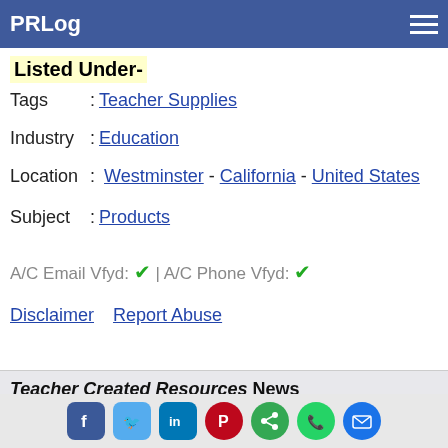PRLog
Listed Under-
Tags : Teacher Supplies
Industry : Education
Location : Westminster - California - United States
Subject : Products
A/C Email Vfyd: ✔ | A/C Phone Vfyd: ✔
Disclaimer   Report Abuse
Teacher Created Resources News
Project-Based Writing - A new series from Teacher Created Resources!
Nonfiction Writing for the Common Core
New science games from Teacher Created Resources!
Social share icons: Facebook, Twitter, LinkedIn, Pinterest, Share, WhatsApp, Email